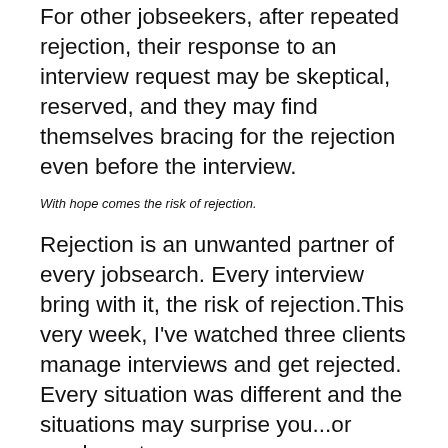For other jobseekers, after repeated rejection, their response to an interview request may be skeptical, reserved, and they may find themselves bracing for the rejection even before the interview.
With hope comes the risk of rejection.
Rejection is an unwanted partner of every jobsearch. Every interview bring with it, the risk of rejection.This very week, I've watched three clients manage interviews and get rejected. Every situation was different and the situations may surprise you...or maybe not.
(NOTE: The names have been changed.)
Interview next month:
“Carl” has had a remarkable background as